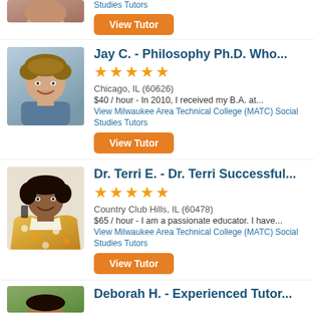[Figure (photo): Partial photo of a tutor (cropped, top portion visible)]
Studies Tutors
View Tutor
[Figure (photo): Photo of Jay C., a young man with curly hair smiling]
Jay C. - Philosophy Ph.D. Who...
★★★★★
Chicago, IL (60626)
$40 / hour - In 2010, I received my B.A. at...
View Milwaukee Area Technical College (MATC) Social Studies Tutors
View Tutor
[Figure (photo): Photo of Dr. Terri E., a woman in a floral jacket smiling and holding a phone]
Dr. Terri E. - Dr. Terri Successful...
★★★★★
Country Club Hills, IL (60478)
$65 / hour - I am a passionate educator. I have...
View Milwaukee Area Technical College (MATC) Social Studies Tutors
View Tutor
[Figure (photo): Partial photo of Deborah H. (cropped at bottom)]
Deborah H. - Experienced Tutor...